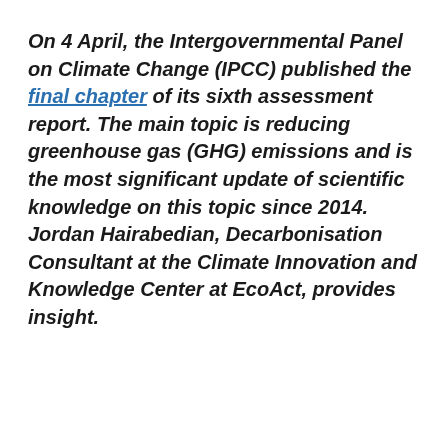On 4 April, the Intergovernmental Panel on Climate Change (IPCC) published the final chapter of its sixth assessment report. The main topic is reducing greenhouse gas (GHG) emissions and is the most significant update of scientific knowledge on this topic since 2014. Jordan Hairabedian, Decarbonisation Consultant at the Climate Innovation and Knowledge Center at EcoAct, provides insight.